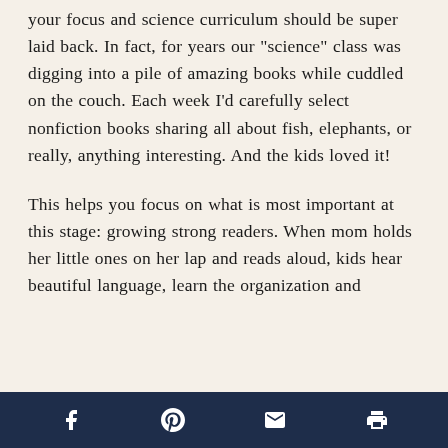your focus and science curriculum should be super laid back. In fact, for years our “science” class was digging into a pile of amazing books while cuddled on the couch. Each week I’d carefully select nonfiction books sharing all about fish, elephants, or really, anything interesting. And the kids loved it!
This helps you focus on what is most important at this stage: growing strong readers. When mom holds her little ones on her lap and reads aloud, kids hear beautiful language, learn the organization and
[Facebook] [Pinterest] [Email] [Print]